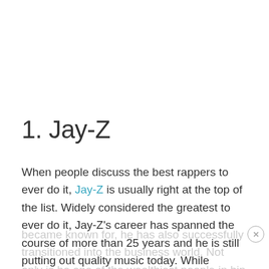1. Jay-Z
When people discuss the best rappers to ever do it, Jay-Z is usually right at the top of the list. Widely considered the greatest to ever do it, Jay-Z's career has spanned the course of more than 25 years and he is still putting out quality music today. While rapping is what he originally became known for, he has also successfully transitioned into the business world. Not only is he one of the wealthiest people in hip hop, but he's also one of the wealthiest people in the entire entertainment industry. The